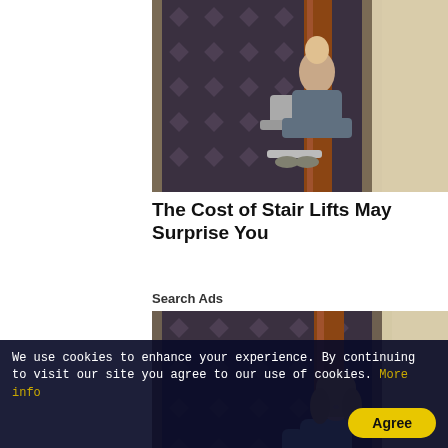[Figure (photo): Elderly person riding a stair lift chair up a carpeted staircase with wooden banister]
The Cost of Stair Lifts May Surprise You
Search Ads
[Figure (photo): Smiling woman sitting on a stair lift chair on a carpeted staircase with wooden banister]
We use cookies to enhance your experience. By continuing to visit our site you agree to our use of cookies. More info